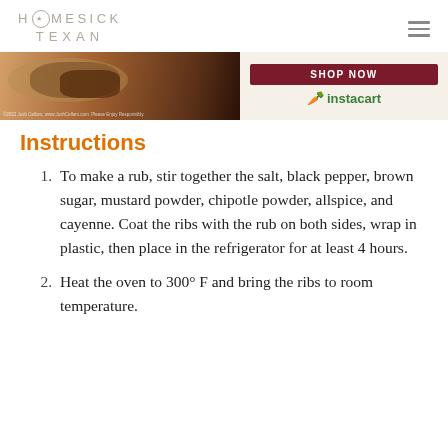HOMESICK TEXAN
[Figure (photo): Advertisement banner showing food (burger/ribs on a plate) on the left and 'SHOP NOW' button with Instacart logo on the right]
Instructions
To make a rub, stir together the salt, black pepper, brown sugar, mustard powder, chipotle powder, allspice, and cayenne. Coat the ribs with the rub on both sides, wrap in plastic, then place in the refrigerator for at least 4 hours.
Heat the oven to 300° F and bring the ribs to room temperature.